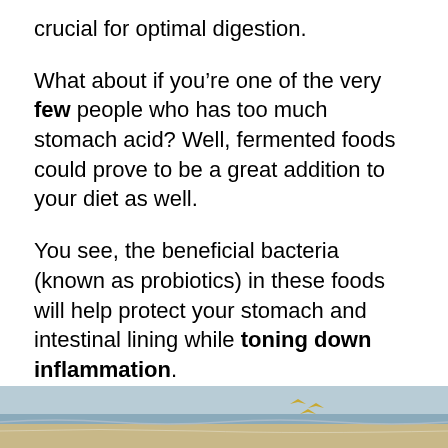crucial for optimal digestion.
What about if you’re one of the very few people who has too much stomach acid? Well, fermented foods could prove to be a great addition to your diet as well.
You see, the beneficial bacteria (known as probiotics) in these foods will help protect your stomach and intestinal lining while toning down inflammation.
Moreover, consuming fermented foods can help your body produce more acetylcholine (a neurotransmitter or brain chemical). This acetylcholine can help make things move better in your bowel and thus alleviate constipation.
[Figure (photo): Bottom strip showing a partial photo, appearing to depict a beach or coastal scene with sand, water, and birds.]